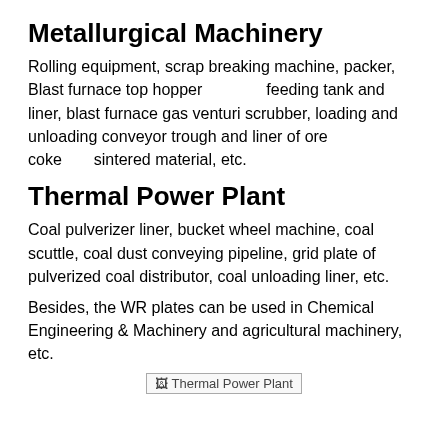Metallurgical Machinery
Rolling equipment, scrap breaking machine, packer, Blast furnace top hopper　　　　feeding tank and liner, blast furnace gas venturi scrubber, loading and unloading conveyor trough and liner of ore　　　　　coke　　sintered material, etc.
Thermal Power Plant
Coal pulverizer liner, bucket wheel machine, coal scuttle, coal dust conveying pipeline, grid plate of pulverized coal distributor, coal unloading liner, etc.
Besides, the WR plates can be used in Chemical Engineering & Machinery and agricultural machinery, etc.
[Figure (other): Broken image placeholder labeled 'Thermal Power Plant']